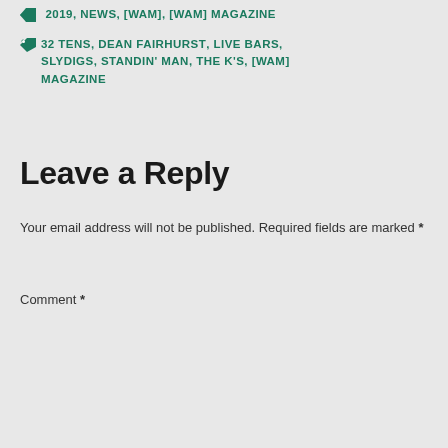2019, NEWS, [WAM], [WAM] MAGAZINE
32 TENS, DEAN FAIRHURST, LIVE BARS, SLYDIGS, STANDIN' MAN, THE K'S, [WAM] MAGAZINE
Leave a Reply
Your email address will not be published. Required fields are marked *
Comment *